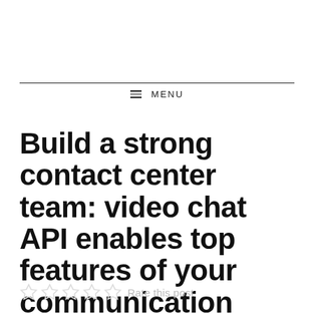MENU
Build a strong contact center team: video chat API enables top features of your communication tools
Rate this post